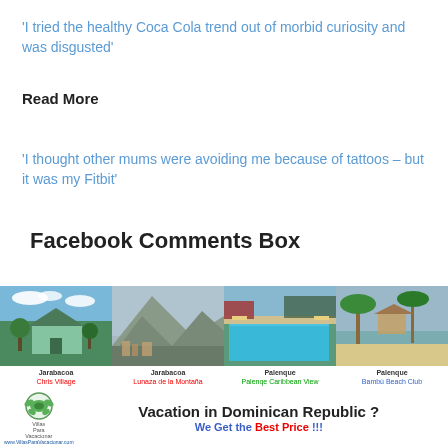'I tried the healthy Coca Cola trend out of morbid curiosity and was disgusted'
Read More
'I thought other mums were avoiding me because of tattoos – but it was my Fitbit'
Facebook Comments Box
[Figure (photo): Advertisement banner with four vacation photos of properties in Jarabacoa and Palenque, Dominican Republic, with captions and a VillasParaVacacionar.com logo]
Jarabacoa Chris Village | Jarabacoa Lunaza de la Montaña | Palenque Palenqe Caribbean View | Palenque Bambú Beach Club
Vacation in Dominican Republic ? We Get the Best Price !!!